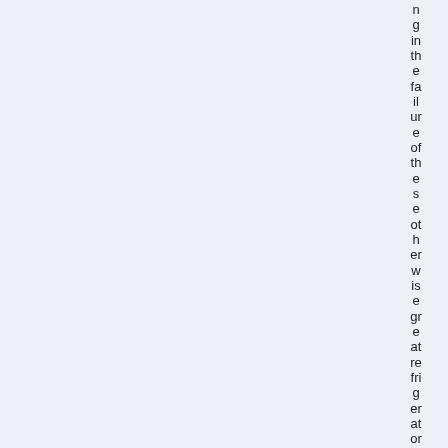ng in the failure of these otherwise greater refrigerators